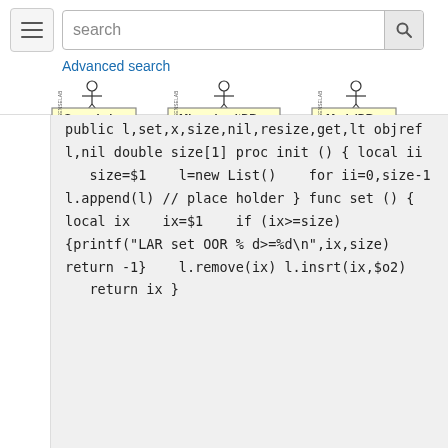[Figure (screenshot): Navigation bar with hamburger menu, search box with search button, and Advanced search link, plus three logos: SenseLab, MicrocircuitDB, ModelDB]
public l,set,x,size,nil,resize,get,lt
objref l,nil
double size[1]

proc init () { local ii
   size=$1
   l=new List()
   for ii=0,size-1 l.append(l) // place
holder
}

func set () { local ix
   ix=$1
   if (ix>=size) {printf("LAR set OOR %
d>=%d\n",ix,size) return -1}
   l.remove(ix) l.insrt(ix,$o2)
   return ix
}